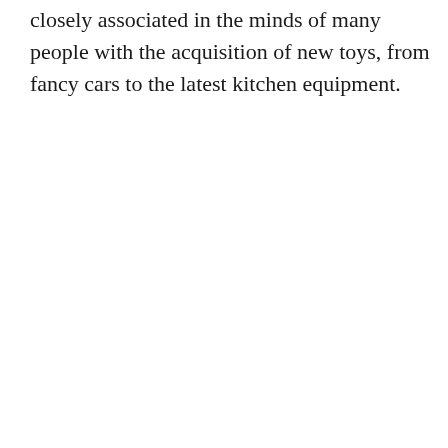closely associated in the minds of many people with the acquisition of new toys, from fancy cars to the latest kitchen equipment.